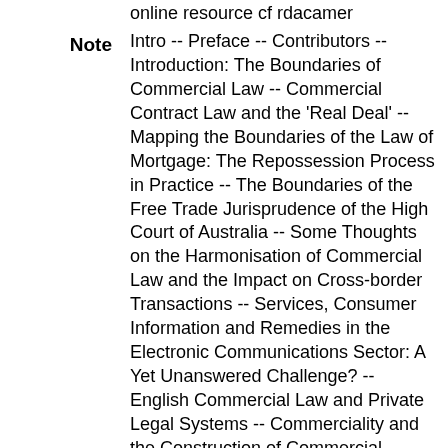online resource cf rdacamer
Note   Intro -- Preface -- Contributors -- Introduction: The Boundaries of Commercial Law -- Commercial Contract Law and the 'Real Deal' -- Mapping the Boundaries of the Law of Mortgage: The Repossession Process in Practice -- The Boundaries of the Free Trade Jurisprudence of the High Court of Australia -- Some Thoughts on the Harmonisation of Commercial Law and the Impact on Cross-border Transactions -- Services, Consumer Information and Remedies in the Electronic Communications Sector: A Yet Unanswered Challenge? -- English Commercial Law and Private Legal Systems -- Commerciality and the Construction of Commercial Contracts: Some Observations on the Use of Legal Reasoning
Do businesspeople consider the rules of commercial law when they negotiate a business deal, or are the